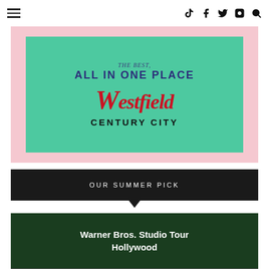≡ [navigation icons: TikTok, Facebook, Twitter, Instagram, Search]
[Figure (illustration): Westfield Century City advertisement banner on pink background with teal/mint green inner panel. Text reads 'THE BEST, ALL IN ONE PLACE' in dark blue, then Westfield in red italic script logo, then 'CENTURY CITY' in black sans-serif bold.]
OUR SUMMER PICK
[Figure (photo): Warner Bros. Studio Tour Hollywood promotional card with dark green header containing white bold text 'Warner Bros. Studio Tour Hollywood', below which is a partial photo showing what appears to be letters/mail items associated with Harry Potter Hogwarts props.]